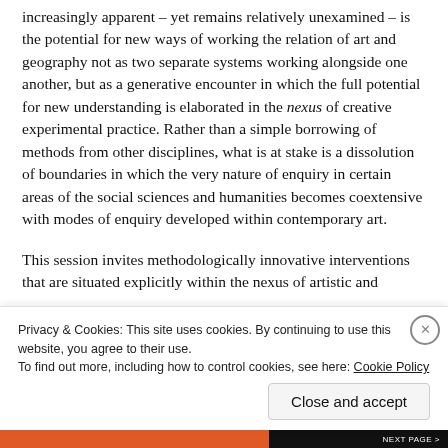increasingly apparent – yet remains relatively unexamined – is the potential for new ways of working the relation of art and geography not as two separate systems working alongside one another, but as a generative encounter in which the full potential for new understanding is elaborated in the nexus of creative experimental practice. Rather than a simple borrowing of methods from other disciplines, what is at stake is a dissolution of boundaries in which the very nature of enquiry in certain areas of the social sciences and humanities becomes coextensive with modes of enquiry developed within contemporary art.
This session invites methodologically innovative interventions that are situated explicitly within the nexus of artistic and...
Privacy & Cookies: This site uses cookies. By continuing to use this website, you agree to their use.
To find out more, including how to control cookies, see here: Cookie Policy
Close and accept